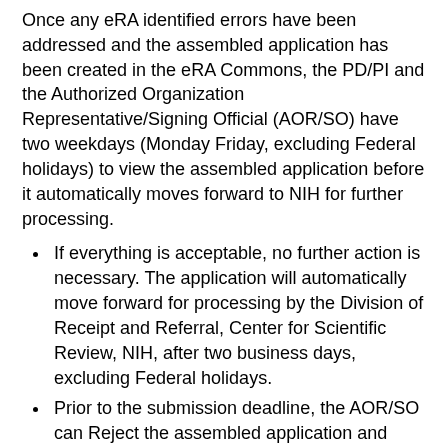Once any eRA identified errors have been addressed and the assembled application has been created in the eRA Commons, the PD/PI and the Authorized Organization Representative/Signing Official (AOR/SO) have two weekdays (Monday Friday, excluding Federal holidays) to view the assembled application before it automatically moves forward to NIH for further processing.
If everything is acceptable, no further action is necessary. The application will automatically move forward for processing by the Division of Receipt and Referral, Center for Scientific Review, NIH, after two business days, excluding Federal holidays.
Prior to the submission deadline, the AOR/SO can Reject the assembled application and submit a changed/corrected application within the two-day viewing window. This option should be used if the AOR/SO determines that warnings should be addressed or if information was lost or compromised during transmission. Reminder: warnings do not stop further application processing. If an application submission results in warnings (but no errors), it will automatically move forward after two business days if no action is taken. Please remember that some